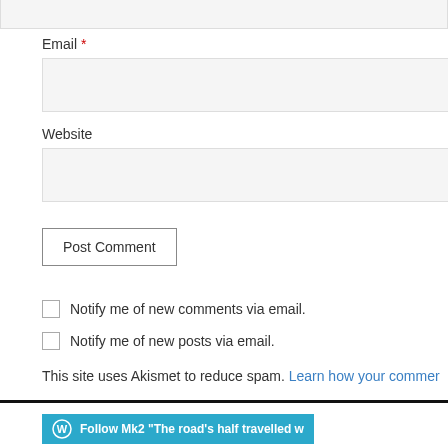[Figure (screenshot): Cropped top input box (Name field bottom edge)]
Email *
[Figure (screenshot): Email input text field]
Website
[Figure (screenshot): Website input text field]
[Figure (screenshot): Post Comment button]
Notify me of new comments via email.
Notify me of new posts via email.
This site uses Akismet to reduce spam. Learn how your comme...
[Figure (screenshot): Follow Mk2 The road's half travelled w... blue WordPress button]
Mk2 "The road's half travelled when you know the way"